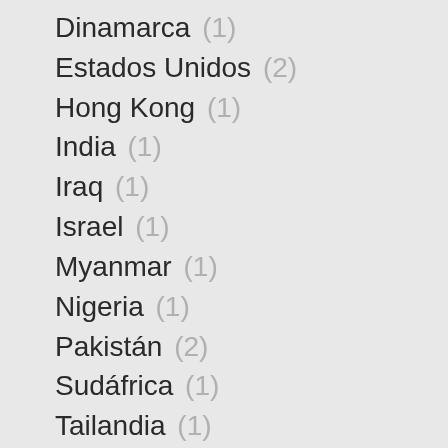Dinamarca (1)
Estados Unidos (2)
Hong Kong (1)
India (1)
Iraq (1)
Israel (1)
Myanmar (1)
Nigeria (1)
Pakistán (2)
Sudáfrica (1)
Tailandia (1)
Turquía (1)
Túnez (1)
Zimbabwe (2)